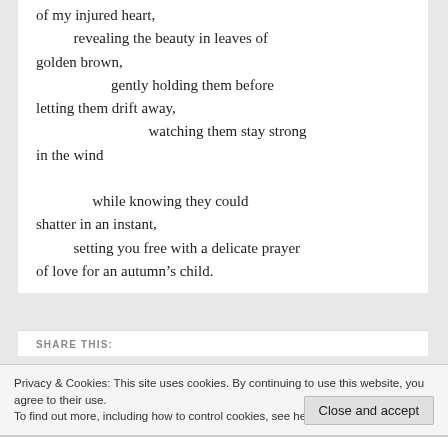of my injured heart,
          revealing the beauty in leaves of golden brown,
                    gently holding them before letting them drift away,
                              watching them stay strong in the wind
               while knowing they could shatter in an instant,
          setting you free with a delicate prayer of love for an autumn's child.
SHARE THIS:
Privacy & Cookies: This site uses cookies. By continuing to use this website, you agree to their use.
To find out more, including how to control cookies, see here: Cookie Policy
Close and accept